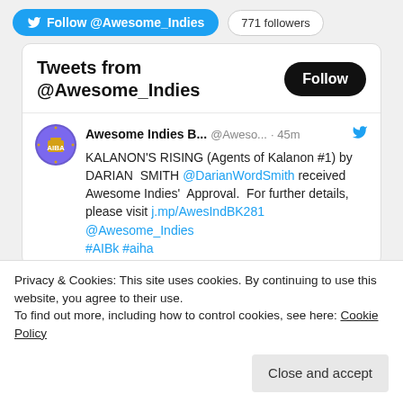[Figure (screenshot): Twitter Follow @Awesome_Indies button with blue background and bird icon, followed by '771 followers' pill badge]
Tweets from @Awesome_Indies
[Figure (screenshot): Twitter Follow button (black rounded pill)]
Awesome Indies B... @Aweso... · 45m
KALANON'S RISING (Agents of Kalanon #1) by DARIAN  SMITH @DarianWordSmith received Awesome Indies' Approval.  For further details, please visit j.mp/AwesIndBK281  @Awesome_Indies #AIBk #aiha
Privacy & Cookies: This site uses cookies. By continuing to use this website, you agree to their use.
To find out more, including how to control cookies, see here: Cookie Policy
Close and accept